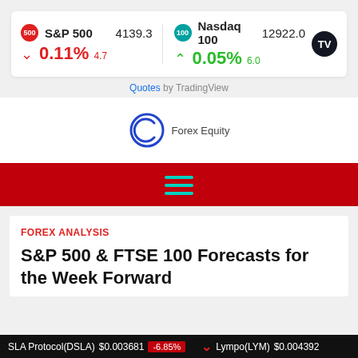[Figure (screenshot): Market ticker widget showing S&P 500 at 4139.3 down 0.11% (4.7 pts) and Nasdaq 100 at 12922.0 up 0.05% (6.0 pts), with TradingView logo]
Quotes by TradingView
[Figure (logo): Forex Equity logo with C symbol and text]
[Figure (other): Red navigation bar with teal hamburger menu icon]
FOREX ANALYSIS
S&P 500 & FTSE 100 Forecasts for the Week Forward
SLA Protocol(DSLA) $0.003681 | -6.85% | Lympo(LYM) $0.004392